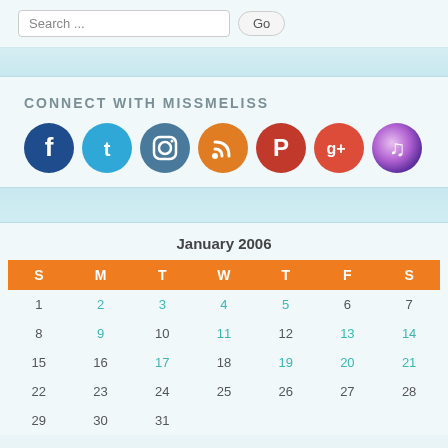Search ...
CONNECT WITH MISSMELISS
[Figure (infographic): Social media icons: Facebook (dark blue), Twitter (blue), Instagram (teal/blue), RSS (orange), Pinterest (red), Google+ (red-orange), iTunes/music (purple/pink circular icon)]
| S | M | T | W | T | F | S |
| --- | --- | --- | --- | --- | --- | --- |
| 1 | 2 | 3 | 4 | 5 | 6 | 7 |
| 8 | 9 | 10 | 11 | 12 | 13 | 14 |
| 15 | 16 | 17 | 18 | 19 | 20 | 21 |
| 22 | 23 | 24 | 25 | 26 | 27 | 28 |
| 29 | 30 | 31 |  |  |  |  |